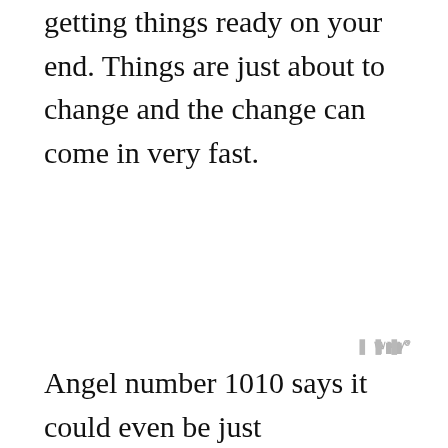getting things ready on your end. Things are just about to change and the change can come in very fast.
Angel number 1010 says it could even be just